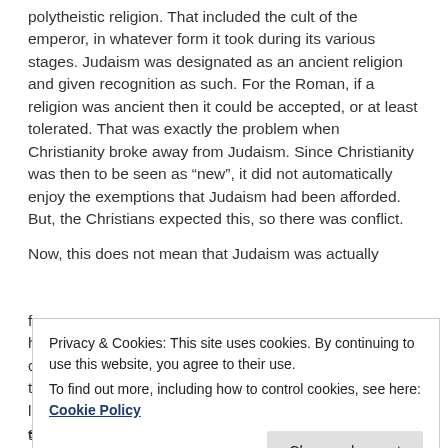polytheistic religion. That included the cult of the emperor, in whatever form it took during its various stages. Judaism was designated as an ancient religion and given recognition as such. For the Roman, if a religion was ancient then it could be accepted, or at least tolerated. That was exactly the problem when Christianity broke away from Judaism. Since Christianity was then to be seen as “new”, it did not automatically enjoy the exemptions that Judaism had been afforded. But, the Christians expected this, so there was conflict.
Now, this does not mean that Judaism was actually
f
h
c
t
l
e
Privacy & Cookies: This site uses cookies. By continuing to use this website, you agree to their use.
To find out more, including how to control cookies, see here: Cookie Policy
Close and accept
they did not do so for the reasons Richardson specifies